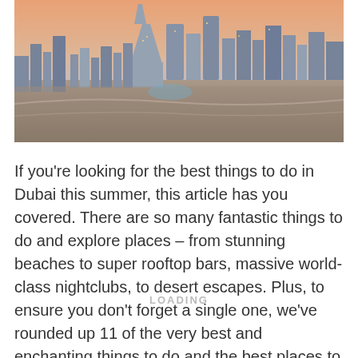[Figure (photo): Aerial panoramic view of Dubai skyline at sunset/dusk showing skyscrapers including the Burj Khalifa, highways, and city lights with a pink and blue sky.]
If you're looking for the best things to do in Dubai this summer, this article has you covered. There are so many fantastic things to do and explore places – from stunning beaches to super rooftop bars, massive world-class nightclubs, to desert escapes. Plus, to ensure you don't forget a single one, we've rounded up 11 of the very best and enchanting things to do and the best places to explore in Dubai right here.